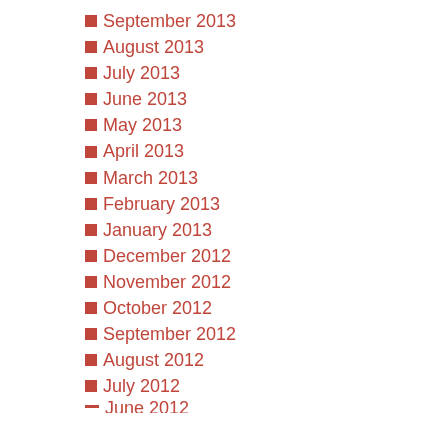September 2013
August 2013
July 2013
June 2013
May 2013
April 2013
March 2013
February 2013
January 2013
December 2012
November 2012
October 2012
September 2012
August 2012
July 2012
June 2012 (partial)